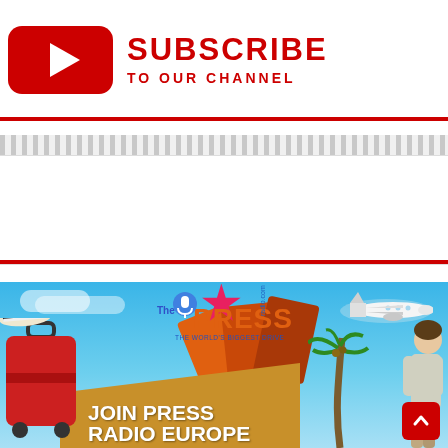[Figure (logo): YouTube subscribe banner with red YouTube play button logo and red text SUBSCRIBE TO OUR CHANNEL]
[Figure (infographic): Press Radio Europe promotional banner with tropical travel theme, showing airplane, luggage, palm trees, The Press Radio logo, and JOIN PRESS RADIO EUROPE text on golden background]